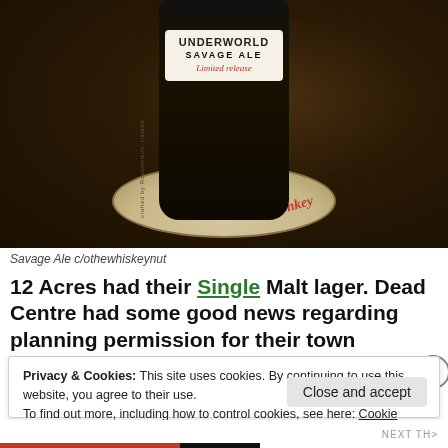[Figure (photo): Close-up photo of a beer bottle labeled 'Underworld Savage Ale - Limited release' sitting on a Black Donkey Brewing coaster on a dark surface]
Savage Ale c/othewhiskeynut
12 Acres had their Single Malt lager. Dead Centre had some good news regarding planning permission for their town
Privacy & Cookies: This site uses cookies. By continuing to use this website, you agree to their use.
To find out more, including how to control cookies, see here: Cookie Policy